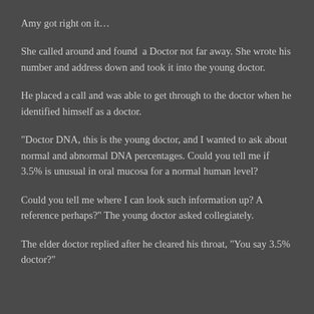Amy got right on it…
She called around and found a Doctor not far away. She wrote his number and address down and took it into the young doctor.
He placed a call and was able to get through to the doctor when he identified himself as a doctor.
“Doctor DNA, this is the young doctor, and I wanted to ask about normal and abnormal DNA percentages. Could you tell me if 3.5% is unusual in oral mucosa for a normal human level?
Could you tell me where I can look such information up? A reference perhaps?” The young doctor asked collegiately.
The elder doctor replied after he cleared his throat, “You say 3.5% doctor?”